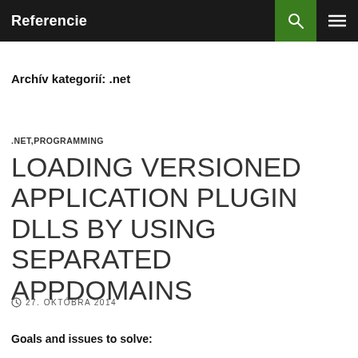Referencie
Archív kategorií: .net
.NET,PROGRAMMING
LOADING VERSIONED APPLICATION PLUGIN DLLS BY USING SEPARATED APPDOMAINS
27. OKTÓBRA 2014
Goals and issues to solve: